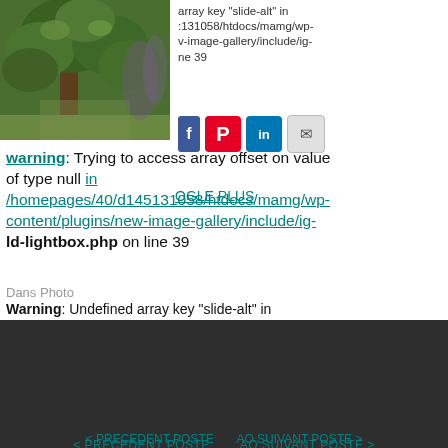[Figure (photo): Garden/nature photo showing trees and foliage, top-left corner]
array key "slide-alt" in /131058/htdocs/mamg/wp-v-image-gallery/include/ig-ne 39
[Figure (infographic): Social sharing icons: Pinterest (red), LinkedIn (blue), Email (gray)]
warning: Trying to access array offset on value of type null in OOGLE PLUS /homepages/40/d145131058/htdocs/mamg/wp-content/plugins/new-image-gallery/include/ig-ld-lightbox.php on line 39
Dans Photo
Warning: Undefined array key "slide-alt" in /homepages/40/d145131058/htdocs/mamg/wp-content/plugins/new-image-gallery/include/ig-ld-lightbox.php on line 39
< PRECEDENT POSTE    AO SUIVANT POSTE >
Warning: Trying to access array offset on value of type null in /homepages/40/d145131058/htdocs/mamg/wp-content/plugins/new-image-gallery/include/ig-ld-lightbox.php on line 39
Warning: Undefined array key "slide-alt" in
[Figure (photo): Dark black and white photo at the bottom of the page, partially visible]